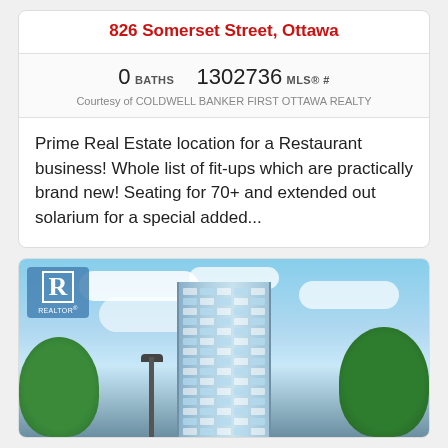826 Somerset Street, Ottawa
0 BATHS   1302736 MLS® #
Courtesy of COLDWELL BANKER FIRST OTTAWA REALTY
Prime Real Estate location for a Restaurant business! Whole list of fit-ups which are practically brand new! Seating for 70+ and extended out solarium for a special added...
[Figure (photo): Exterior photo of a modern high-rise glass tower in Ottawa, with blue sky and clouds in the background, green trees on the sides, and a REALTOR® logo overlay in the top left corner.]